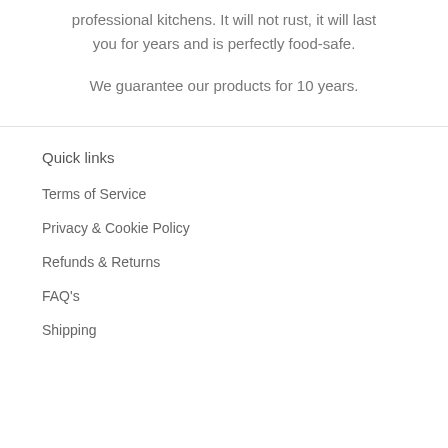professional kitchens. It will not rust, it will last you for years and is perfectly food-safe.
We guarantee our products for 10 years.
Quick links
Terms of Service
Privacy & Cookie Policy
Refunds & Returns
FAQ's
Shipping